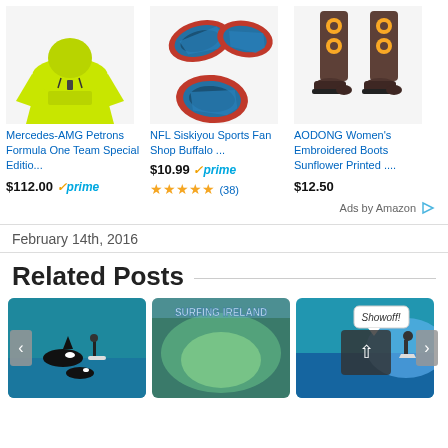[Figure (other): Amazon product ad section showing three products: a yellow Mercedes-AMG hoodie, NFL Buffalo Bills fan magnets, and AODONG Women's Embroidered Boots]
Mercedes-AMG Petrons Formula One Team Special Editio...
$112.00 ✓prime
NFL Siskiyou Sports Fan Shop Buffalo ...
$10.99 ✓prime
★★★★★ (38)
AODONG Women's Embroidered Boots Sunflower Printed ....
$12.50
Ads by Amazon ▷
February 14th, 2016
Related Posts
[Figure (photo): Thumbnail of killer whales/orcas in water with a paddleboarder]
[Figure (photo): Thumbnail with 'SURFING IRELAND' text over a green wave]
[Figure (photo): Thumbnail of surfer with 'Showoff!' speech bubble and scroll-to-top button overlay]